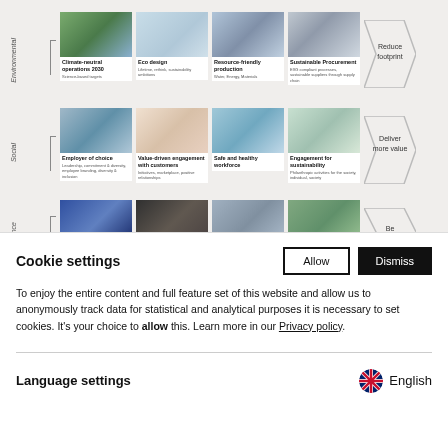[Figure (screenshot): ESG framework grid showing Environmental, Social, and Governance rows with photo cards and chevron arrows. Environmental row: Climate-neutral operations 2030, Eco design, Resource-friendly production, Sustainable Procurement → Reduce footprint. Social row: Employer of choice, Value-driven engagement with customers, Safe and healthy workforce, Engagement for sustainability → Deliver more value. Governance row partially visible with 4 photo cards and partial chevron.]
Cookie settings
To enjoy the entire content and full feature set of this website and allow us to anonymously track data for statistical and analytical purposes it is necessary to set cookies. It's your choice to allow this. Learn more in our Privacy policy.
Language settings
English